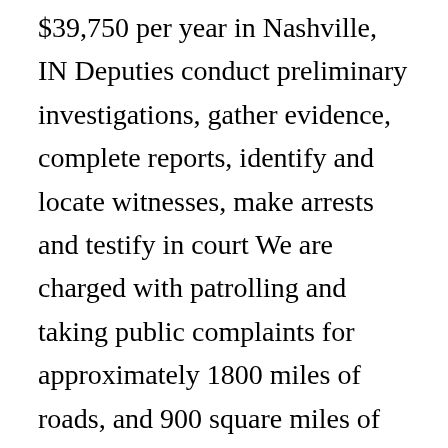$39,750 per year in Nashville, IN Deputies conduct preliminary investigations, gather evidence, complete reports, identify and locate witnesses, make arrests and testify in court We are charged with patrolling and taking public complaints for approximately 1800 miles of roads, and 900 square miles of private and public land Specific License or Certification Required: Must be currently certified/mandated and … Deputy Sheriff I As a San Francisco Deputy Sheriff, you'll